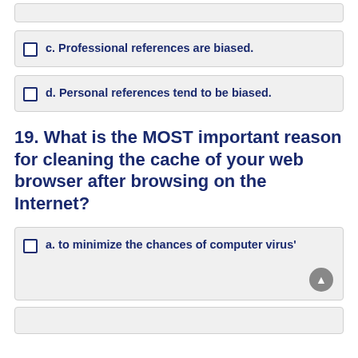c. Professional references are biased.
d. Personal references tend to be biased.
19. What is the MOST important reason for cleaning the cache of your web browser after browsing on the Internet?
a. to minimize the chances of computer virus'